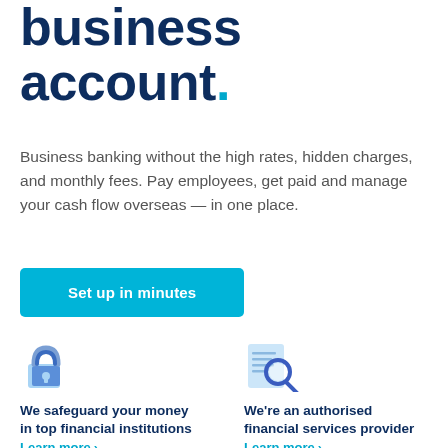business account.
Business banking without the high rates, hidden charges, and monthly fees. Pay employees, get paid and manage your cash flow overseas — in one place.
[Figure (other): Cyan/teal button labeled 'Set up in minutes']
[Figure (illustration): Blue padlock icon representing security/safeguarding]
We safeguard your money in top financial institutions
Learn more
[Figure (illustration): Blue magnifying glass over document icon representing authorised financial services]
We're an authorised financial services provider
Learn more